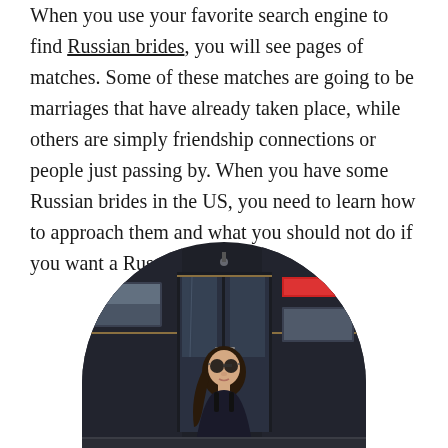When you use your favorite search engine to find Russian brides, you will see pages of matches. Some of these matches are going to be marriages that have already taken place, while others are simply friendship connections or people just passing by. When you have some Russian brides in the US, you need to learn how to approach them and what you should not do if you want a Russian bride.
[Figure (photo): A young woman with long brown hair and round sunglasses wearing a dark outfit, standing in front of a dark building facade with glass doors, photo cropped in a circle.]